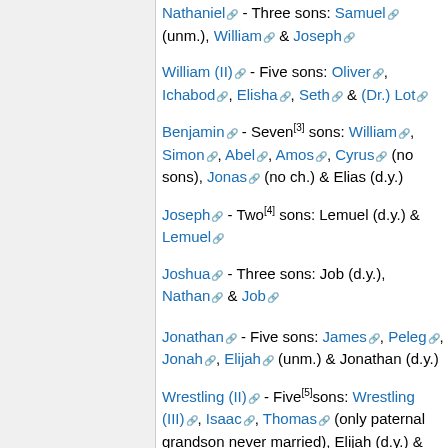Nathaniel - Three sons: Samuel (unm.), William & Joseph
William (II) - Five sons: Oliver, Ichabod, Elisha, Seth & (Dr.) Lot
Benjamin - Seven[3] sons: William, Simon, Abel, Amos, Cyrus (no sons), Jonas (no ch.) & Elias (d.y.)
Joseph - Two[4] sons: Lemuel (d.y.) & Lemuel
Joshua - Three sons: Job (d.y.), Nathan & Job
Jonathan - Five sons: James, Peleg, Jonah, Elijah (unm.) & Jonathan (d.y.)
Wrestling (II) - Five[5]sons: Wrestling (III), Isaac, Thomas (only paternal grandson never married), Elijah (d.y.) & Elisha (unm.)